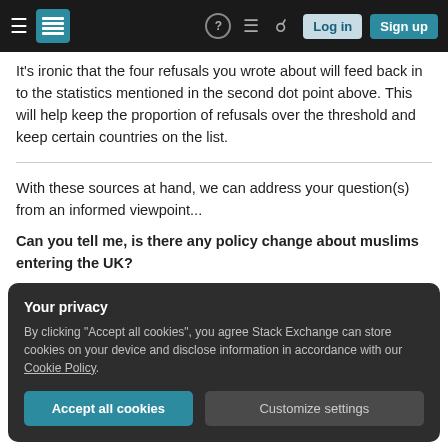Stack Exchange navigation bar with Log in and Sign up buttons
It's ironic that the four refusals you wrote about will feed back in to the statistics mentioned in the second dot point above. This will help keep the proportion of refusals over the threshold and keep certain countries on the list.
With these sources at hand, we can address your question(s) from an informed viewpoint...
Can you tell me, is there any policy change about muslims entering the UK?
Your privacy
By clicking "Accept all cookies", you agree Stack Exchange can store cookies on your device and disclose information in accordance with our Cookie Policy.
Accept all cookies  Customize settings
from statistics which point to large scale abuse by